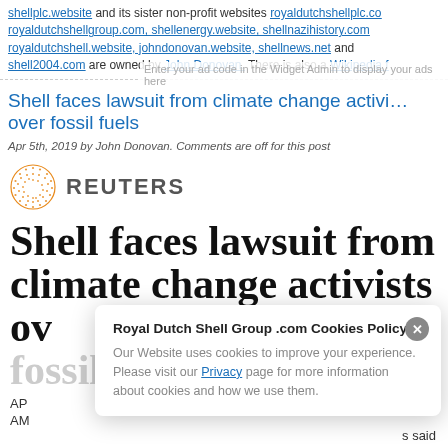shellplc.website and its sister non-profit websites royaldutchshellplc.com royaldutchshellgroup.com, shellenergy.website, shellnazihistory.com royaldutchshell.website, johndonovan.website, shellnews.net and shell2004.com are owned by John Donovan. There is also a Wikipedia f
Shell faces lawsuit from climate change activists over fossil fuels
Apr 5th, 2019 by John Donovan. Comments are off for this post
[Figure (logo): Reuters logo with orange dot globe and REUTERS text]
Shell faces lawsuit from climate change activists over fossil fuels
AP...
AM... s said
Royal Dutch Shell Group .com Cookies Policy - Our Website uses cookies to improve your experience. Please visit our Privacy page for more information about cookies and how we use them.